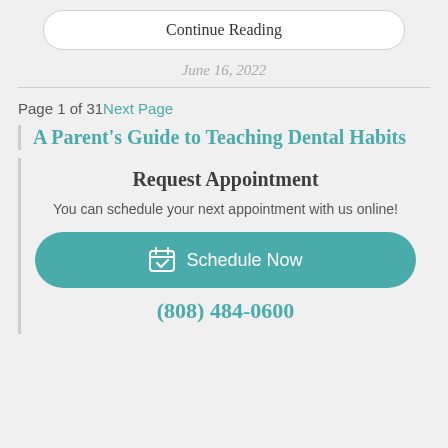Continue Reading
June 16, 2022
Page 1 of 31 Next Page
A Parent's Guide to Teaching Dental Habits
Request Appointment
You can schedule your next appointment with us online!
Schedule Now
(808) 484-0600